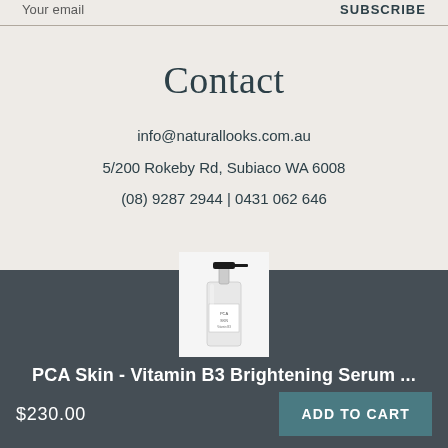Your email  |  SUBSCRIBE
Contact
info@naturallooks.com.au
5/200 Rokeby Rd, Subiaco WA 6008
(08) 9287 2944 | 0431 062 646
[Figure (photo): Product photo of a white pump bottle of PCA Skin Vitamin B3 Brightening Serum with a black pump top, on a white background]
PCA Skin - Vitamin B3 Brightening Serum ...
$230.00
ADD TO CART